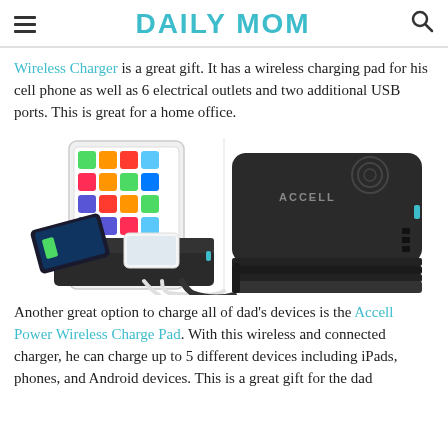DAILY MOM
Wireless Charger is a great gift. It has a wireless charging pad for his cell phone as well as 6 electrical outlets and two additional USB ports. This is great for a home office.
[Figure (photo): Product photo showing two views of the Accell Power Wireless Charge Pad — left side shows a tablet and two phones charging on a multi-device charging station, right side shows the black rectangular wireless charging pad device from above and side angle.]
Another great option to charge all of dad's devices is the Accell Power Wireless Charge Pad. With this wireless and connected charger, he can charge up to 5 different devices including iPads, phones, and Android devices. This is a great gift for the dad